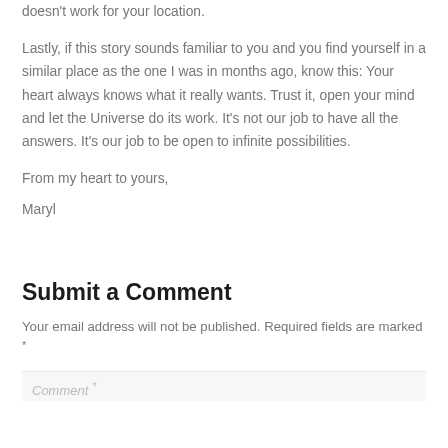doesn't work for your location.
Lastly, if this story sounds familiar to you and you find yourself in a similar place as the one I was in months ago, know this: Your heart always knows what it really wants. Trust it, open your mind and let the Universe do its work. It's not our job to have all the answers. It's our job to be open to infinite possibilities.
From my heart to yours,
Maryl
Submit a Comment
Your email address will not be published. Required fields are marked *
Comment *